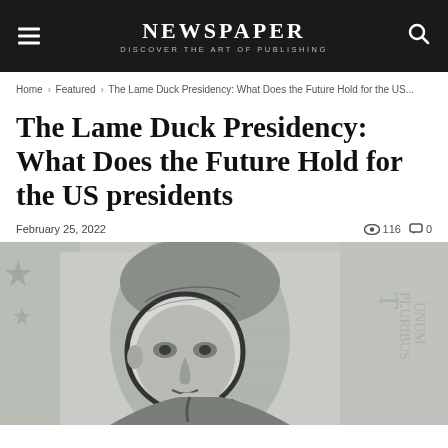NEWSPAPER
DISCOVER THE ART OF PUBLISHING
Home › Featured › The Lame Duck Presidency: What Does the Future Hold for the US...
The Lame Duck Presidency: What Does the Future Hold for the US presidents
February 25, 2022
👁 116 💬 0
[Figure (photo): Close-up photograph of a United States dollar bill showing a presidential portrait with a magnifying glass overlaid on the face, in grayscale/black and white tones.]